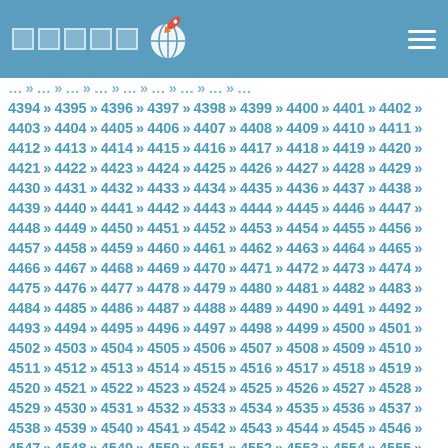■■■■■ [globe icon with rocket]
4394 » 4395 » 4396 » 4397 » 4398 » 4399 » 4400 » 4401 » 4402 » 4403 » 4404 » 4405 » 4406 » 4407 » 4408 » 4409 » 4410 » 4411 » 4412 » 4413 » 4414 » 4415 » 4416 » 4417 » 4418 » 4419 » 4420 » 4421 » 4422 » 4423 » 4424 » 4425 » 4426 » 4427 » 4428 » 4429 » 4430 » 4431 » 4432 » 4433 » 4434 » 4435 » 4436 » 4437 » 4438 » 4439 » 4440 » 4441 » 4442 » 4443 » 4444 » 4445 » 4446 » 4447 » 4448 » 4449 » 4450 » 4451 » 4452 » 4453 » 4454 » 4455 » 4456 » 4457 » 4458 » 4459 » 4460 » 4461 » 4462 » 4463 » 4464 » 4465 » 4466 » 4467 » 4468 » 4469 » 4470 » 4471 » 4472 » 4473 » 4474 » 4475 » 4476 » 4477 » 4478 » 4479 » 4480 » 4481 » 4482 » 4483 » 4484 » 4485 » 4486 » 4487 » 4488 » 4489 » 4490 » 4491 » 4492 » 4493 » 4494 » 4495 » 4496 » 4497 » 4498 » 4499 » 4500 » 4501 » 4502 » 4503 » 4504 » 4505 » 4506 » 4507 » 4508 » 4509 » 4510 » 4511 » 4512 » 4513 » 4514 » 4515 » 4516 » 4517 » 4518 » 4519 » 4520 » 4521 » 4522 » 4523 » 4524 » 4525 » 4526 » 4527 » 4528 » 4529 » 4530 » 4531 » 4532 » 4533 » 4534 » 4535 » 4536 » 4537 » 4538 » 4539 » 4540 » 4541 » 4542 » 4543 » 4544 » 4545 » 4546 » 4547 » 4548 » 4549 » 4550 » 4551 » 4552 » 4553 » 4554 » 4555 » 4556 » 4557 » 4558 » 4559 » 4560 » 4561 » 4562 » 4563 » 4564 » 4565 » 4566 » 4567 » 4568 » 4569 » 4570 » 4571 » 4572 » 4573 » 4574 » 4575 » 4576 » 4577 » 4578 » 4579 » 4580 » 4581 » 4582